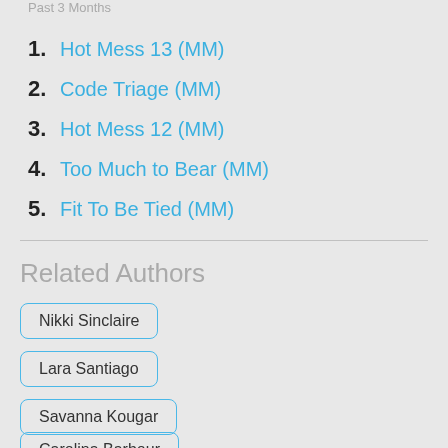Past 3 Months
1. Hot Mess 13 (MM)
2. Code Triage (MM)
3. Hot Mess 12 (MM)
4. Too Much to Bear (MM)
5. Fit To Be Tied (MM)
Related Authors
Nikki Sinclaire
Lara Santiago
Savanna Kougar
Carolina Barbour